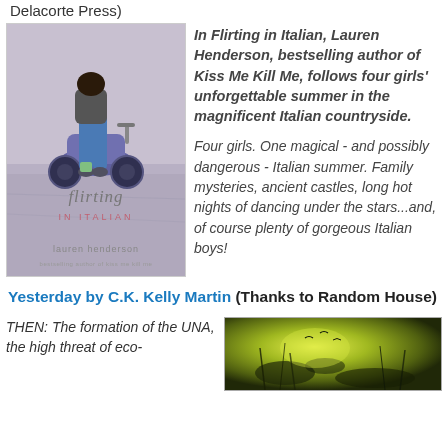Delacorte Press)
[Figure (photo): Book cover of Flirting in Italian by Lauren Henderson, showing two people on a purple scooter]
In Flirting in Italian, Lauren Henderson, bestselling author of Kiss Me Kill Me, follows four girls' unforgettable summer in the magnificent Italian countryside.

Four girls. One magical - and possibly dangerous - Italian summer. Family mysteries, ancient castles, long hot nights of dancing under the stars...and, of course plenty of gorgeous Italian boys!
Yesterday by C.K. Kelly Martin (Thanks to Random House)
THEN: The formation of the UNA, the high threat of eco-
[Figure (photo): Green and yellow nature/abstract image, likely a book cover for Yesterday]